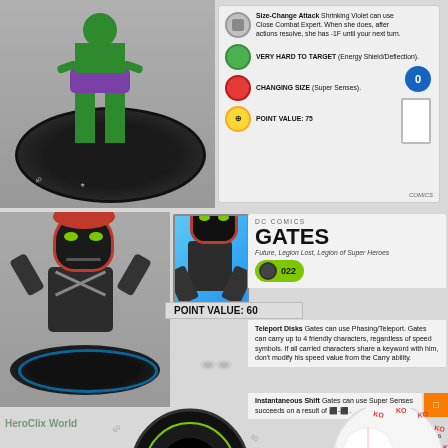[Figure (photo): HeroClix miniature figure on black dial base, top character (Shrinking Violet)]
Size-Change Attack Shrinking Violet can use Close Combat Expert. When she does, after actions resolve, she has -1F until your next turn.
VERY HARD TO TARGET (Energy Shield/Deflection).
CHANGING SIZE (Super Senses).
POINT VALUE: 75
[Figure (photo): Gates HeroClix miniature figure on blue lit base]
[Figure (illustration): Gates character art card showing bug-like villain in red hood with clawed hands]
DC COMICS
GATES
Future, Legion Lost, Legion of Super Heroes
POINT VALUE: 60
022
Teleport Disks Gates can use Phasing/Teleport. Gates can carry up to 4 friendly characters, regardless of speed symbols. If all carried characters share a keyword with him, don't modify his speed value from the Carry ability.
Instantaneous Shift Gates can use Super Senses succeeds on a result of [die]-[die].
[Figure (photo): Gates HeroClix combat dial (bottom) showing KO ring and stat values]
[Figure (photo): Stat/KO reference dial on right side]
HeroClix World